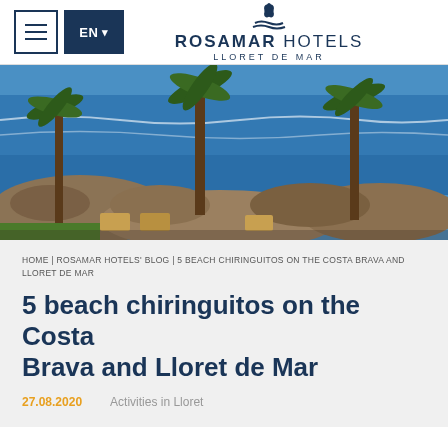ROSAMAR HOTELS LLORET DE MAR — EN navigation header
[Figure (photo): Coastal Mediterranean scene with palm trees, rocky shore, blue sea, and outdoor terrace seating at Lloret de Mar]
HOME | ROSAMAR HOTELS' BLOG | 5 BEACH CHIRINGUITOS ON THE COSTA BRAVA AND LLORET DE MAR
5 beach chiringuitos on the Costa Brava and Lloret de Mar
27.08.2020    Activities in Lloret